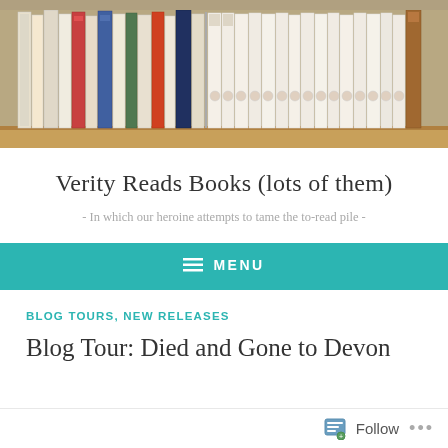[Figure (photo): A photo of a bookshelf filled with many books, including rows of matching spines, visible from a top-down angle against a wooden shelf background.]
Verity Reads Books (lots of them)
- In which our heroine attempts to tame the to-read pile -
≡ MENU
BLOG TOURS, NEW RELEASES
Blog Tour: Died and Gone to Devon
Follow ...